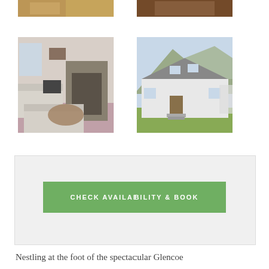[Figure (photo): Interior room photo showing wooden panels and flooring - top left]
[Figure (photo): Interior photo showing furniture - top right]
[Figure (photo): Living room with fireplace, sofas, and TV - middle left]
[Figure (photo): Exterior of white cottage with mountains behind - middle right]
CHECK AVAILABILITY & BOOK
Nestling at the foot of the spectacular Glencoe